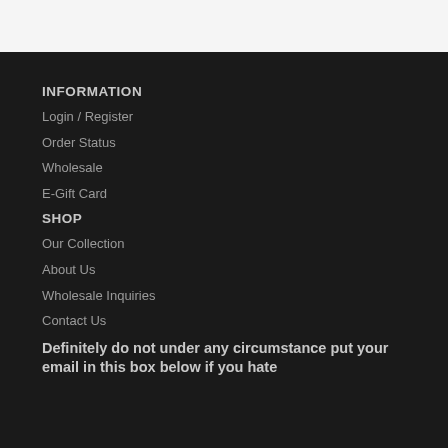INFORMATION
Login / Register
Order Status
Wholesale
E-Gift Card
SHOP
Our Collection
About Us
Wholesale Inquiries
Contact Us
Definitely do not under any circumstance put your email in this box below if you hate